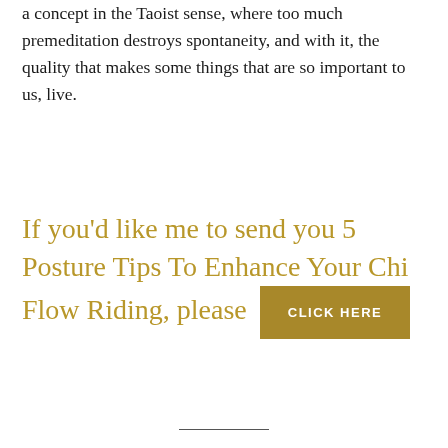a concept in the Taoist sense, where too much premeditation destroys spontaneity, and with it, the quality that makes some things that are so important to us, live.
If you'd like me to send you 5 Posture Tips To Enhance Your Chi Flow Riding, please CLICK HERE